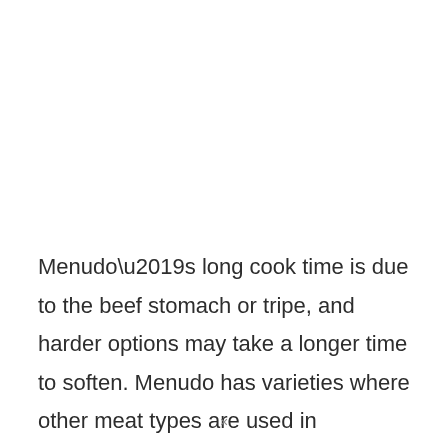Menudo’s long cook time is due to the beef stomach or tripe, and harder options may take a longer time to soften. Menudo has varieties where other meat types are used in
×